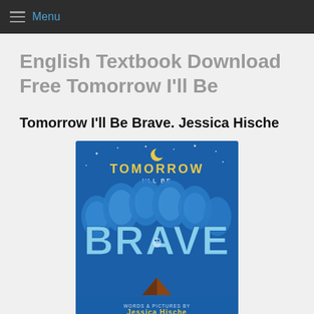Menu
English Textbook Download Free Tomorrow I'll Be
Tomorrow I'll Be Brave. Jessica Hische
[Figure (illustration): Book cover of 'Tomorrow I'll Be Brave' by Jessica Hische. Dark blue background with decorative lettering. Top text reads 'TOMORROW I'LL BE' and large stylized text reads 'BRAVE'. Illustrated mushrooms/trees and a small camping tent at the bottom. Stars and a crescent moon visible at the top.]